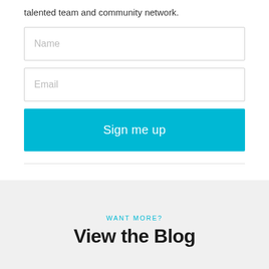talented team and community network.
[Figure (other): Name input field (form text input with placeholder 'Name')]
[Figure (other): Email input field (form text input with placeholder 'Email')]
[Figure (other): Sign me up button (cyan/teal colored call-to-action button)]
WANT MORE?
View the Blog